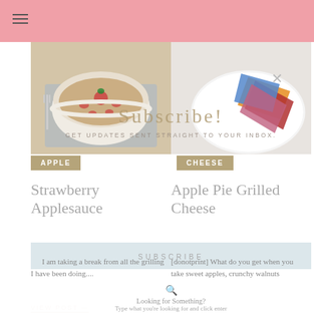[Figure (photo): Bowl of strawberry applesauce with strawberry garnish on blue patterned surface]
[Figure (photo): Colorful plate with folded napkins/papers in orange, red, blue, pink colors on white plate]
Subscribe!
GET UPDATES SENT STRAIGHT TO YOUR INBOX.
APPLE
CHEESE
Strawberry Applesauce
Apple Pie Grilled Cheese
I am taking a break from all the grilling I have been doing....
[donotprint] What do you get when you take sweet apples, crunchy walnuts
VIEW POST —
SUBSCRIBE
Looking for Something?
Type what you're looking for and click enter